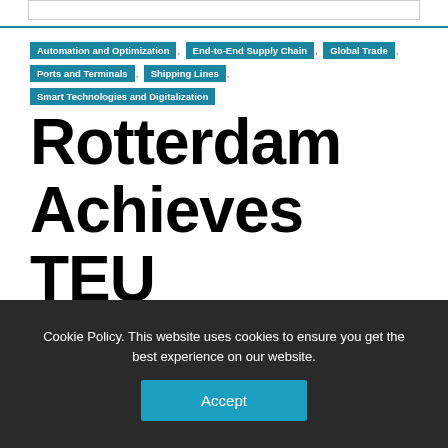Automation and Optimization , End-to-End Supply Chain , Global Trade , Ports and Terminals , Shipping Lines , Smart Technologies and Digitalization
Rotterdam Achieves TEU Milestone in 2018
Cookie Policy. This website uses cookies to ensure you get the best experience on our website.